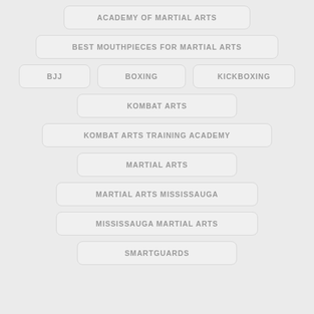ACADEMY OF MARTIAL ARTS
BEST MOUTHPIECES FOR MARTIAL ARTS
BJJ
BOXING
KICKBOXING
KOMBAT ARTS
KOMBAT ARTS TRAINING ACADEMY
MARTIAL ARTS
MARTIAL ARTS MISSISSAUGA
MISSISSAUGA MARTIAL ARTS
SMARTGUARDS